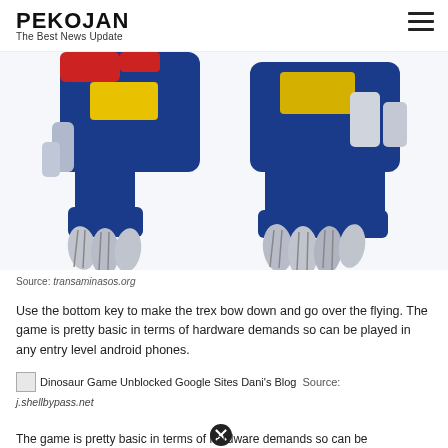PEKOJAN
The Best News Update
[Figure (photo): Blue and yellow robot/transformer toy with silver claws, front legs visible, white background]
Source: transaminasos.org
Use the bottom key to make the trex bow down and go over the flying. The game is pretty basic in terms of hardware demands so can be played in any entry level android phones.
[Figure (photo): Broken image placeholder for: Dinosaur Game Unblocked Google Sites Dani's Blog]
Source: j.shellbypass.net
The game is pretty basic in terms of hardware demands so can be